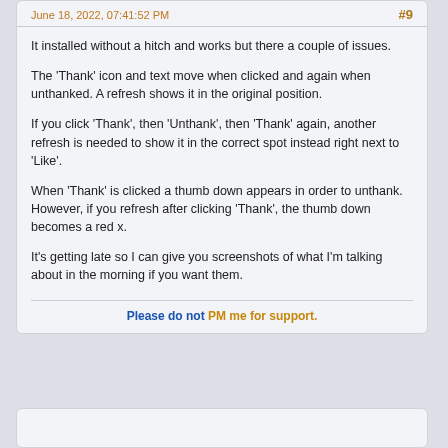Steve • Freak • Support Specialist
June 18, 2022, 07:41:52 PM
#9
It installed without a hitch and works but there a couple of issues.
The 'Thank' icon and text move when clicked and again when unthanked. A refresh shows it in the original position.
If you click 'Thank', then 'Unthank', then 'Thank' again, another refresh is needed to show it in the correct spot instead right next to 'Like'.
When 'Thank' is clicked a thumb down appears in order to unthank. However, if you refresh after clicking 'Thank', the thumb down becomes a red x.
It's getting late so I can give you screenshots of what I'm talking about in the morning if you want them.
Please do not PM me for support.